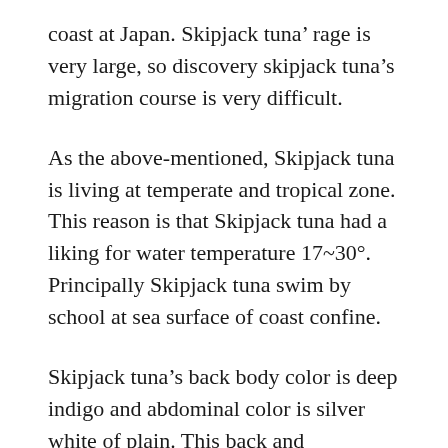coast at Japan. Skipjack tuna' rage is very large, so discovery skipjack tuna's migration course is very difficult.
As the above-mentioned, Skipjack tuna is living at temperate and tropical zone. This reason is that Skipjack tuna had a liking for water temperature 17~30°. Principally Skipjack tuna swim by school at sea surface of coast confine.
Skipjack tuna's back body color is deep indigo and abdominal color is silver white of plain. This back and abdominal color is defense method to so-called counter shadowing. In that